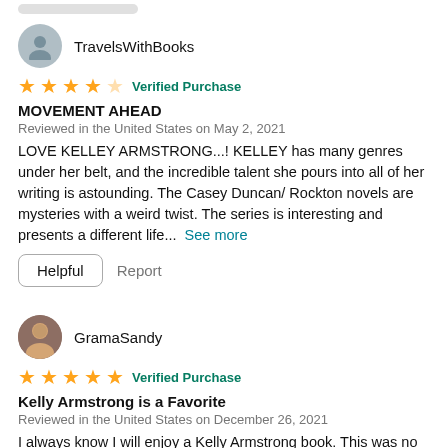TravelsWithBooks
4 stars, Verified Purchase
MOVEMENT AHEAD
Reviewed in the United States on May 2, 2021
LOVE KELLEY ARMSTRONG...! KELLEY has many genres under her belt, and the incredible talent she pours into all of her writing is astounding. The Casey Duncan/ Rockton novels are mysteries with a weird twist. The series is interesting and presents a different life... See more
Helpful   Report
GramaSandy
5 stars, Verified Purchase
Kelly Armstrong is a Favorite
Reviewed in the United States on December 26, 2021
I always know I will enjoy a Kelly Armstrong book. This was no different. I am really looking forward to the next one.